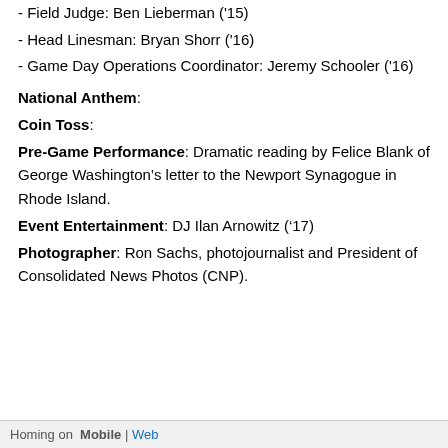- Field Judge: Ben Lieberman ('15)
- Head Linesman: Bryan Shorr ('16)
- Game Day Operations Coordinator: Jeremy Schooler ('16)
National Anthem:
Coin Toss:
Pre-Game Performance: Dramatic reading by Felice Blank of George Washington’s letter to the Newport Synagogue in Rhode Island.
Event Entertainment: DJ Ilan Arnowitz ('17)
Photographer: Ron Sachs, photojournalist and President of Consolidated News Photos (CNP).
Homing on Mobile | Web